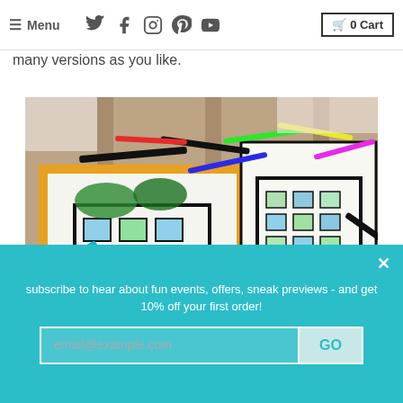≡ Menu  [Twitter] [Facebook] [Instagram] [Pinterest] [YouTube]  🛒 0 Cart
many versions as you like.
[Figure (photo): Children coloring large architectural coloring sheets spread across a wooden table, with many colored markers scattered around.]
subscribe to hear about fun events, offers, sneak previews - and get 10% off your first order!
email@example.com  GO